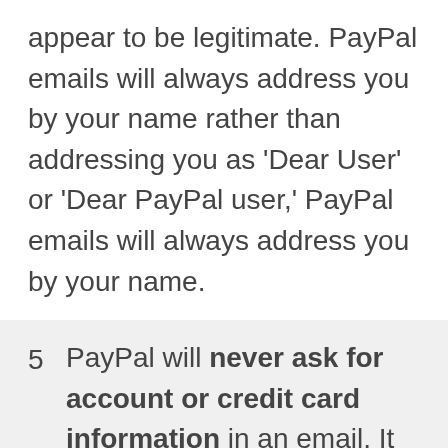appear to be legitimate. PayPal emails will always address you by your name rather than addressing you as 'Dear User' or 'Dear PayPal user,' PayPal emails will always address you by your name.
5  PayPal will never ask for account or credit card information in an email. It will also not request a tracking code or provide a link to download a software update. More information on spotting a PayPal phishing email may be found here.